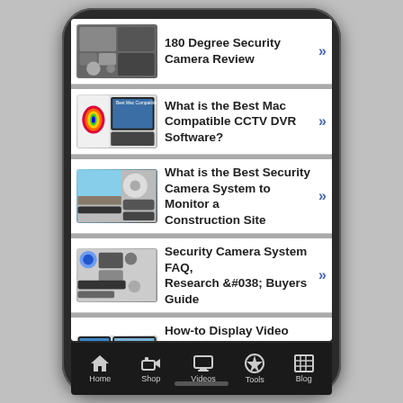[Figure (screenshot): Mobile phone screen showing a security camera blog app with list of articles and bottom navigation bar containing Home, Shop, Videos, Tools, Blog tabs]
180 Degree Security Camera Review
What is the Best Mac Compatible CCTV DVR Software?
What is the Best Security Camera System to Monitor a Construction Site
Security Camera System FAQ, Research &#038; Buyers Guide
How-to Display Video from Multiple Security Cameras on One TV